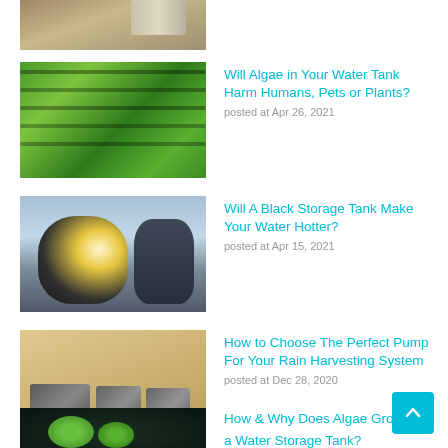[Figure (photo): Water tank beside a wooden fence structure]
Rainwater
posted at May 26, 2021
[Figure (photo): Aerial view of algae growing in green water]
Will Algae in Your Water Tank Harm Humans, Pets or Plants?
posted at Apr 26, 2021
[Figure (photo): Black storage water tank with sun glare]
Will A Black Storage Tank Make Your Water Hotter?
posted at Apr 15, 2021
[Figure (photo): Water pumps on a white surface in front of a tank]
How to Choose The Perfect Pump For Your Rain Harvesting System
posted at Dec 28, 2020
[Figure (photo): Green algae cells under microscope on dark background]
How & Why Does Algae Grow in a Water Storage Tank?